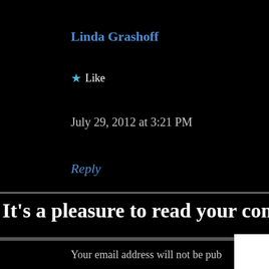Linda Grashoff
★ Like
July 29, 2012 at 3:21 PM
Reply
It's a pleasure to read your comme
Your email address will not be pub